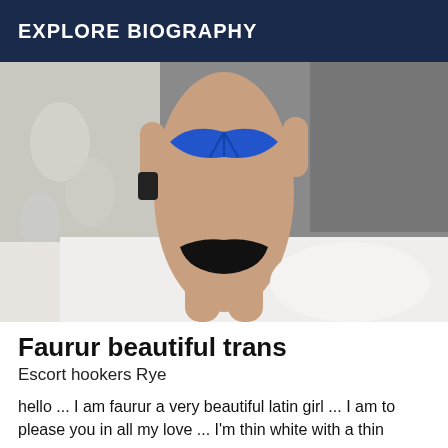EXPLORE BIOGRAPHY
[Figure (photo): A person in a blue bikini top and black underwear posing in a bedroom setting]
Faurur beautiful trans
Escort hookers Rye
hello ... I am faurur a very beautiful latin girl ... I am to please you in all my love ... I'm thin white with a thin